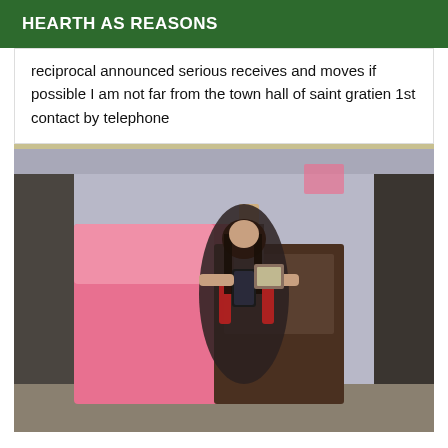HEARTH AS REASONS
reciprocal announced serious receives and moves if possible I am not far from the town hall of saint gratien 1st contact by telephone
[Figure (photo): Person taking a mirror selfie in a bedroom, wearing a dark sheer outfit with red accents, pink bedding visible in background]